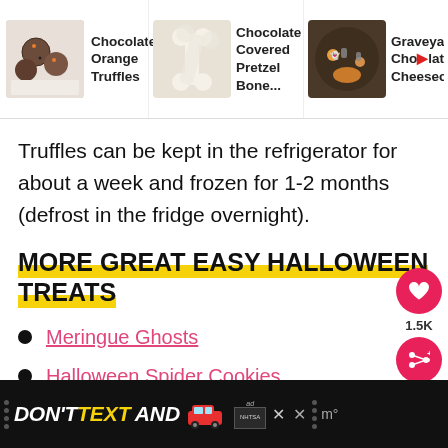Chocolate Orange Truffles | Chocolate Covered Pretzel Bone... | Graveyard Chocolate Cheesecal
Truffles can be kept in the refrigerator for about a week and frozen for 1-2 months (defrost in the fridge overnight).
MORE GREAT EASY HALLOWEEN TREATS
Meringue Ghosts
Halloween Spider Cookies
Witch Hat Cookies
[Figure (screenshot): Advertisement banner: DON'T TEXT AND [car emoji] with NHTSA branding on dark background]